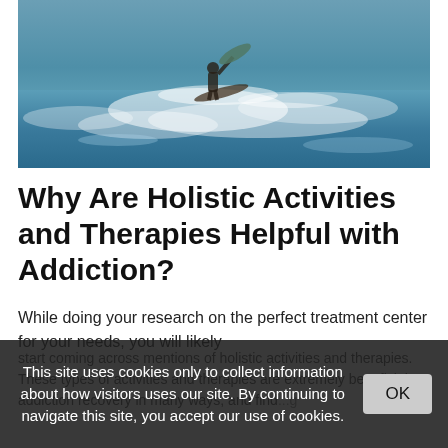[Figure (photo): Person running on water with a surfboard, ocean waves with blue-green water splashing]
Why Are Holistic Activities and Therapies Helpful with Addiction?
While doing your research on the perfect treatment center for your needs, you will likely start coming across mentions of holistic activities and therapies. These types of activities and therapies are extremely beneficial to addiction recovery in many ways, and finding
This site uses cookies only to collect information about how visitors uses our site. By continuing to navigate this site, you accept our use of cookies.